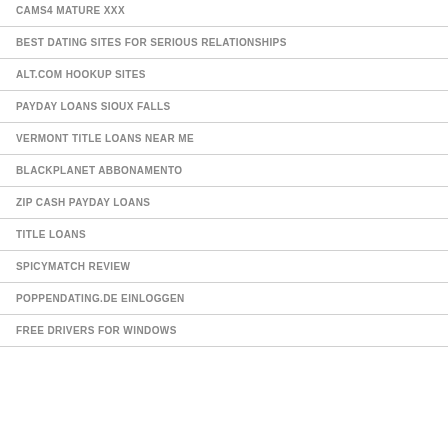CAMS4 MATURE XXX
BEST DATING SITES FOR SERIOUS RELATIONSHIPS
ALT.COM HOOKUP SITES
PAYDAY LOANS SIOUX FALLS
VERMONT TITLE LOANS NEAR ME
BLACKPLANET ABBONAMENTO
ZIP CASH PAYDAY LOANS
TITLE LOANS
SPICYMATCH REVIEW
POPPENDATING.DE EINLOGGEN
FREE DRIVERS FOR WINDOWS